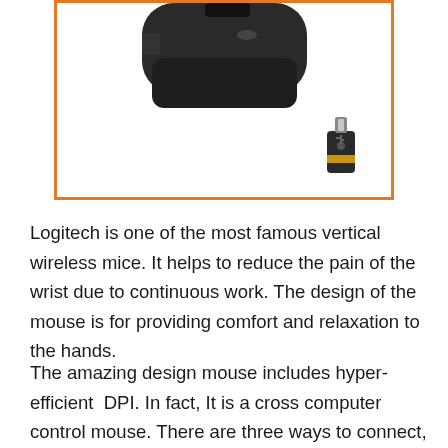[Figure (photo): Product image of a Logitech vertical wireless mouse shown from the bottom/back angle, dark/black color, with an orange border frame. A small USB receiver dongle is shown in the lower right corner of the image frame.]
Logitech is one of the most famous vertical wireless mice. It helps to reduce the pain of the wrist due to continuous work. The design of the mouse is for providing comfort and relaxation to the hands.
The amazing design mouse includes hyper-efficient  DPI. In fact, It is a cross computer control mouse. There are three ways to connect,